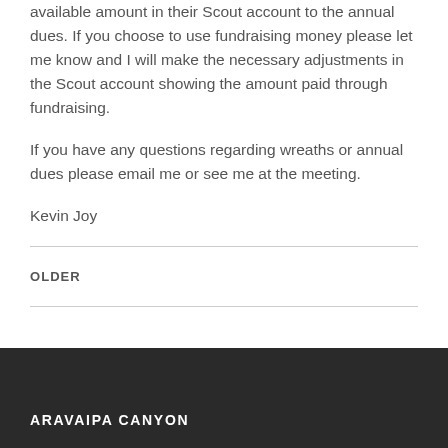available amount in their Scout account to the annual dues. If you choose to use fundraising money please let me know and I will make the necessary adjustments in the Scout account showing the amount paid through fundraising.
If you have any questions regarding wreaths or annual dues please email me or see me at the meeting.
Kevin Joy
OLDER
ARAVAIPA CANYON